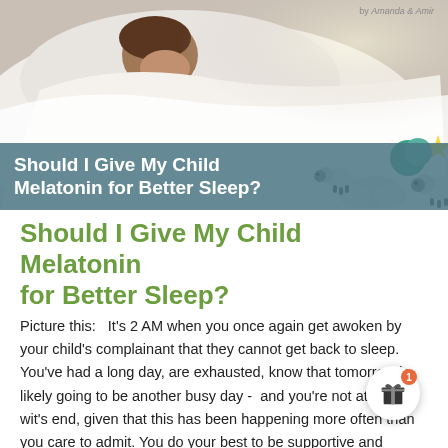[Figure (photo): Child peeking over white bedsheets with sleep-themed decorative illustrations (sheep, moon, stars) and a teal overlay banner with article title]
Should I Give My Child Melatonin for Better Sleep?
Picture this:   It's 2 AM when you once again get awoken by your child's complainant that they cannot get back to sleep. You've had a long day, are exhausted, know that tomorrow is likely going to be another busy day -  and you're not at your wit's end, given that this has been happening more often than you care to admit. You do your best to be supportive and comforting to your sleep deprived child but